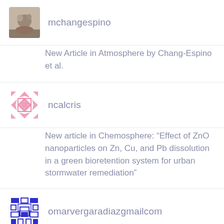mchangespino
New Article in Atmosphere by Chang-Espino et al.
ncalcris
New article in Chemosphere: “Effect of ZnO nanoparticles on Zn, Cu, and Pb dissolution in a green bioretention system for urban stormwater remediation”
omarvergaradiazgmailcom
Create Instagram Page...